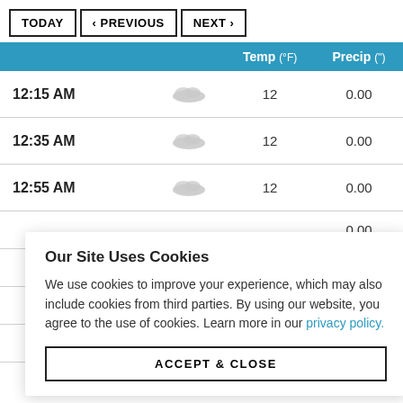TODAY  < PREVIOUS  NEXT >
|  |  | Temp (°F) | Precip (") |
| --- | --- | --- | --- |
| 12:15 AM | [cloud icon] | 12 | 0.00 |
| 12:35 AM | [cloud icon] | 12 | 0.00 |
| 12:55 AM | [cloud icon] | 12 | 0.00 |
|  |  |  | 0.00 |
|  |  |  | 0.00 |
|  |  |  | 0.00 |
|  |  |  | 0.00 |
Our Site Uses Cookies
We use cookies to improve your experience, which may also include cookies from third parties. By using our website, you agree to the use of cookies. Learn more in our privacy policy.
ACCEPT & CLOSE